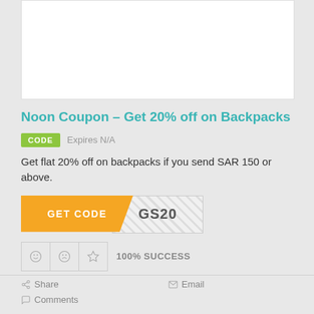Noon Coupon – Get 20% off on Backpacks
CODE  Expires N/A
Get flat 20% off on backpacks if you send SAR 150 or above.
GET CODE  GS20
100% SUCCESS
Share  Email  Comments